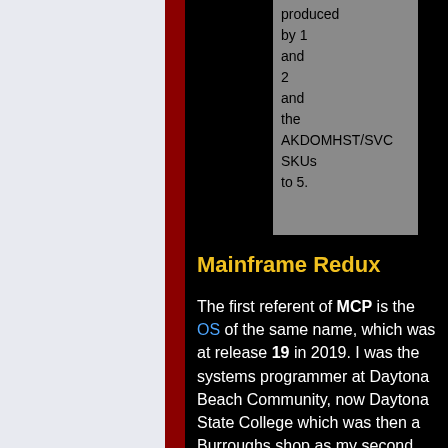produced by 1 and 2 and the AKDOMHST/SVC SKUs to 5.
Mainframe Redux
The first referent of MCP is the OS of the same name, which was at release 19 in 2019. I was the systems programmer at Daytona Beach Community, now Daytona State College which was then a Burroughs shop as my second multi-year job out of college ('83-'85). [1]. See the talk page for more recent experience with the system that inspires my